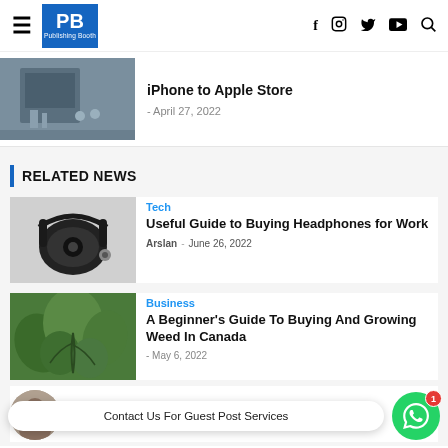PB Publishing Booth — navigation header with social icons
[Figure (photo): Partial article teaser image showing a building exterior with people walking]
iPhone to Apple Store
- April 27, 2022
RELATED NEWS
[Figure (photo): Black over-ear headphones on grey background]
Tech
Useful Guide to Buying Headphones for Work
Arslan - June 26, 2022
[Figure (photo): Green leafy plant, cannabis foliage]
Business
A Beginner's Guide To Buying And Growing Weed In Canada
May 6, 2022
Contact Us For Guest Post Services
[Figure (photo): Partial circular person thumbnail]
News